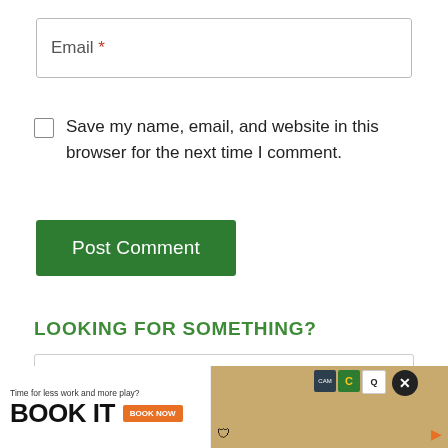Email *
Save my name, email, and website in this browser for the next time I comment.
Post Comment
LOOKING FOR SOMETHING?
Search …
[Figure (screenshot): Advertisement banner: 'Time for less work and more play? BOOK IT / BOOK NOW' with logos and a photo of a person.]